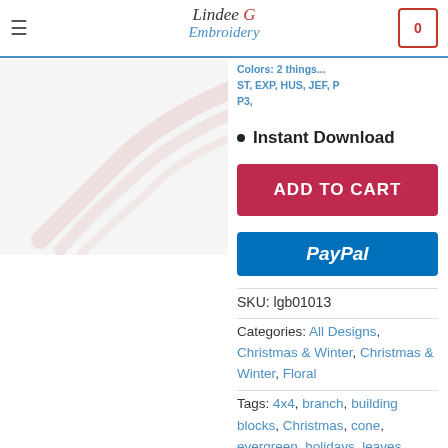Lindee G Embroidery — navigation header with cart
[Figure (screenshot): Product image placeholder with decorative swoosh lines on light gray background]
Colors: 2 things... ST, EXP, HUS, JEF, P... P3,
Instant Download
ADD TO CART
[Figure (logo): PayPal payment button, blue background with white italic PayPal text]
SKU: lgb01013
Categories: All Designs, Christmas & Winter, Christmas & Winter, Floral
Tags: 4x4, branch, building blocks, Christmas, cone, evergreen, holidays, leaves, lgb010, needles, pincecone, pine, plant, seasonal,